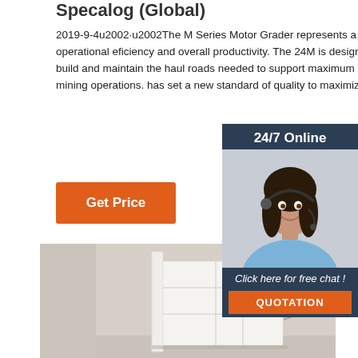Specalog (Global)
2019-9-4u2002·u2002The M Series Motor Grader represents a revolution in operational eficiency and overall productivity. The 24M is designed to help you build and maintain the haul roads needed to support maximum eficiency in large mining operations. has set a new standard of quality to maximize on investment.
[Figure (infographic): 24/7 Online chat widget with a woman wearing a headset, dark blue background, orange QUOTATION button at bottom]
[Figure (photo): Interior room scene showing white modular shelf/wardrobe furniture against a beige wall]